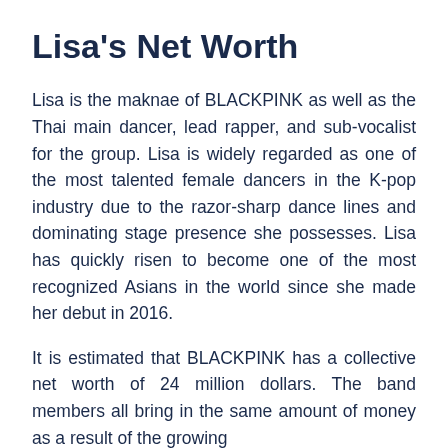Lisa's Net Worth
Lisa is the maknae of BLACKPINK as well as the Thai main dancer, lead rapper, and sub-vocalist for the group. Lisa is widely regarded as one of the most talented female dancers in the K-pop industry due to the razor-sharp dance lines and dominating stage presence she possesses. Lisa has quickly risen to become one of the most recognized Asians in the world since she made her debut in 2016.
It is estimated that BLACKPINK has a collective net worth of 24 million dollars. The band members all bring in the same amount of money as a result of the growing